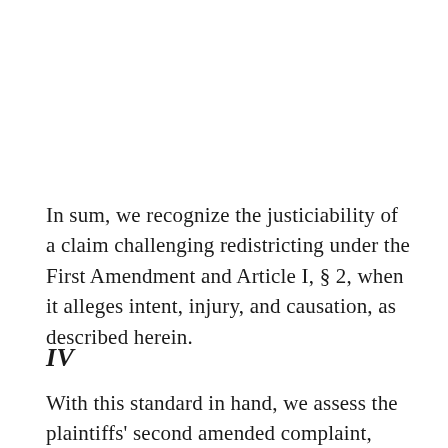In sum, we recognize the justiciability of a claim challenging redistricting under the First Amendment and Article I, § 2, when it alleges intent, injury, and causation, as described herein.
IV
With this standard in hand, we assess the plaintiffs' second amended complaint,